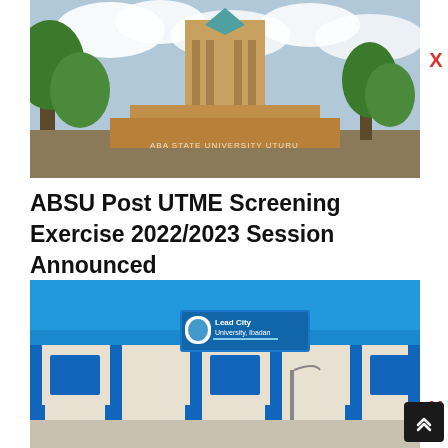[Figure (photo): Abia State University building/clock tower with trees in foreground and cloudy sky background]
ABSU Post UTME Screening Exercise 2022/2023 Session Announced
[Figure (photo): Lead City University, Ibadan building exterior with blue and white facade and signage]